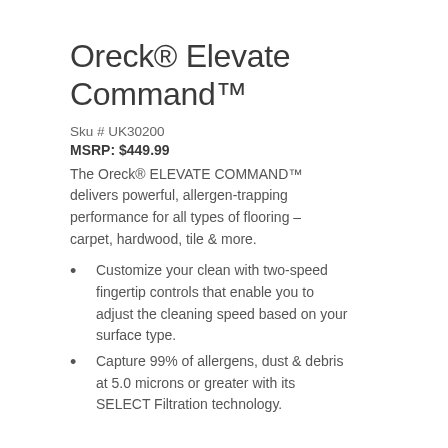Oreck® Elevate Command™
Sku # UK30200
MSRP: $449.99
The Oreck® ELEVATE COMMAND™ delivers powerful, allergen-trapping performance for all types of flooring – carpet, hardwood, tile & more.
Customize your clean with two-speed fingertip controls that enable you to adjust the cleaning speed based on your surface type.
Capture 99% of allergens, dust & debris at 5.0 microns or greater with its SELECT Filtration technology.